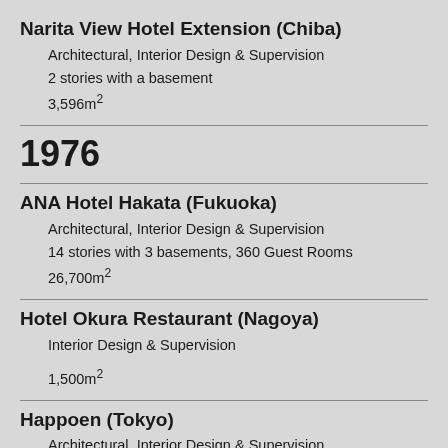Narita View Hotel Extension (Chiba)
Architectural, Interior Design & Supervision
2 stories with a basement
3,596m²
1976
ANA Hotel Hakata (Fukuoka)
Architectural, Interior Design & Supervision
14 stories with 3 basements, 360 Guest Rooms
26,700m²
Hotel Okura Restaurant (Nagoya)
Interior Design & Supervision
1,500m²
Happoen (Tokyo)
Architectural, Interior Design & Supervision